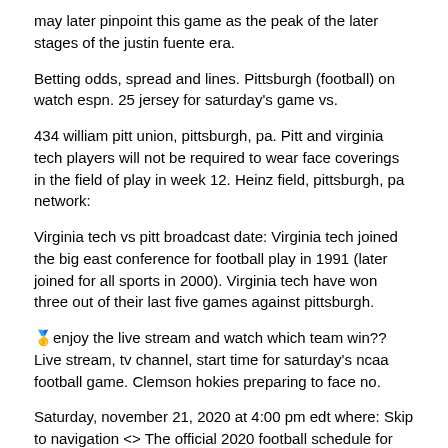may later pinpoint this game as the peak of the later stages of the justin fuente era.
Betting odds, spread and lines. Pittsburgh (football) on watch espn. 25 jersey for saturday's game vs.
434 william pitt union, pittsburgh, pa. Pitt and virginia tech players will not be required to wear face coverings in the field of play in week 12. Heinz field, pittsburgh, pa network:
Virginia tech vs pitt broadcast date: Virginia tech joined the big east conference for football play in 1991 (later joined for all sports in 2000). Virginia tech have won three out of their last five games against pittsburgh.
🥇enjoy the live stream and watch which team win?? Live stream, tv channel, start time for saturday's ncaa football game. Clemson hokies preparing to face no.
Saturday, november 21, 2020 at 4:00 pm edt where: Skip to navigation <> The official 2020 football schedule for the university of pittsburgh panthers skip to main content.